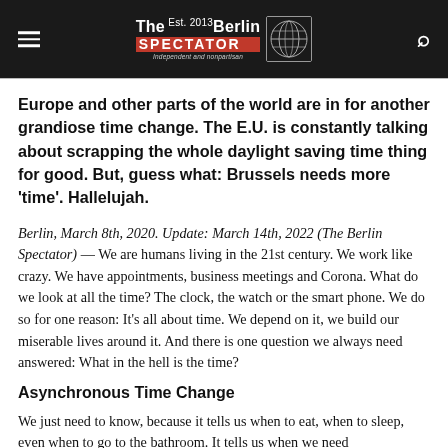The Berlin SPECTATOR — Independent and nonpartisan
Europe and other parts of the world are in for another grandiose time change. The E.U. is constantly talking about scrapping the whole daylight saving time thing for good. But, guess what: Brussels needs more 'time'. Hallelujah.
Berlin, March 8th, 2020. Update: March 14th, 2022 (The Berlin Spectator) — We are humans living in the 21st century. We work like crazy. We have appointments, business meetings and Corona. What do we look at all the time? The clock, the watch or the smart phone. We do so for one reason: It's all about time. We depend on it, we build our miserable lives around it. And there is one question we always need answered: What in the hell is the time?
Asynchronous Time Change
We just need to know, because it tells us when to eat, when to sleep, even when to go to the bathroom. It tells us when we need